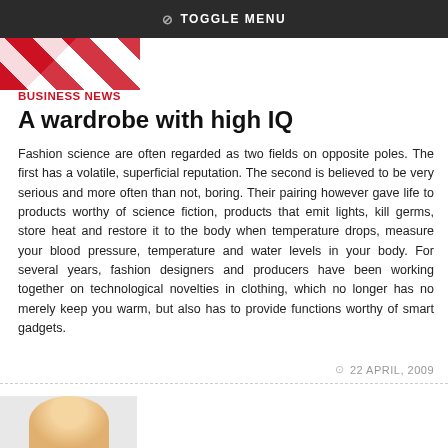TOGGLE MENU
[Figure (photo): Partial image strip showing red and white pattern at top left]
BUSINESS NEWS
A wardrobe with high IQ
Fashion science are often regarded as two fields on opposite poles. The first has a volatile, superficial reputation. The second is believed to be very serious and more often than not, boring. Their pairing however gave life to products worthy of science fiction, products that emit lights, kill germs, store heat and restore it to the body when temperature drops, measure your blood pressure, temperature and water levels in your body. For several years, fashion designers and producers have been working together on technological novelties in clothing, which no longer has no merely keep you warm, but also has to provide functions worthy of smart gadgets.
22 APRIL, 2009
[Figure (photo): Partial photo of a person at the bottom left]